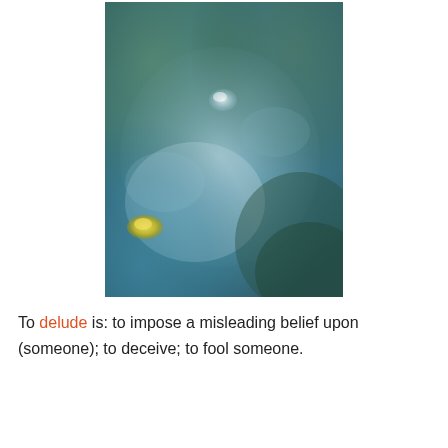[Figure (photo): A blurry, close-up photograph with blue, green, and grey tones, resembling a surface or fluid with a small circular highlight or bubble visible near the center-top area, and a small yellow-green spot in the lower-left.]
To delude is: to impose a misleading belief upon (someone); to deceive; to fool someone.